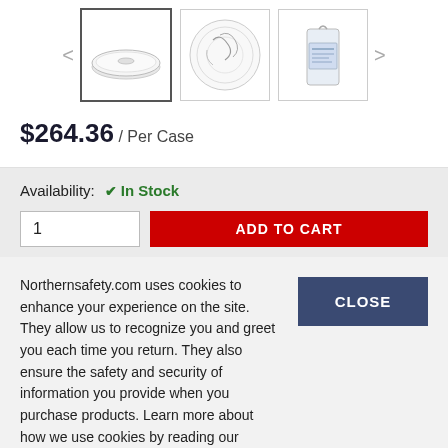[Figure (screenshot): Product image carousel with three thumbnail images: a white plastic bowl/lid (selected/active), a paper plate with decorative pattern, and a plastic bag with product packaging. Left and right navigation arrows flank the thumbnails.]
$264.36 / Per Case
Availability: ✓ In Stock
1
ADD TO CART
Northernsafety.com uses cookies to enhance your experience on the site. They allow us to recognize you and greet you each time you return. They also ensure the safety and security of information you provide when you purchase products. Learn more about how we use cookies by reading our Privacy Policy.
CLOSE